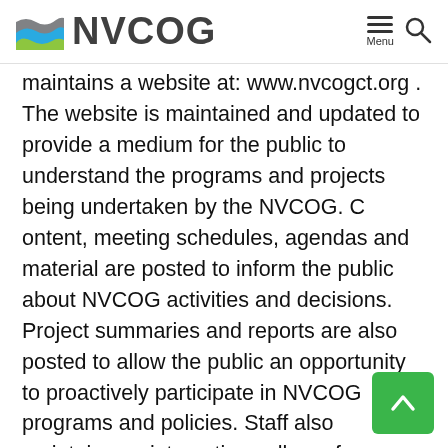NVCOG
maintains a website at: www.nvcogct.org . The website is maintained and updated to provide a medium for the public to understand the programs and projects being undertaken by the NVCOG. C ontent, meeting schedules, agendas and material are posted to inform the public about NVCOG activities and decisions. Project summaries and reports are also posted to allow the public an opportunity to proactively participate in NVCOG programs and policies. Staff also maintains an interactive gallery of maps on the website : • Mobility Project Reporter: This